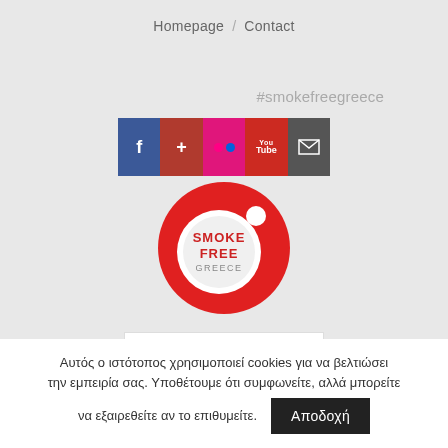Homepage / Contact
#smokefreegreece
[Figure (infographic): Social media icon bar with 5 icons: Facebook (blue), Google+ (dark red), Flickr (pink), YouTube (red), Email (dark grey)]
[Figure (logo): Smoke Free Greece circular logo - red circle with white inner circle containing SMOKE FREE GREECE text and a cigarette with smoke design]
EN
Αυτός ο ιστότοπος χρησιμοποιεί cookies για να βελτιώσει την εμπειρία σας. Υποθέτουμε ότι συμφωνείτε, αλλά μπορείτε να εξαιρεθείτε αν το επιθυμείτε. Αποδοχή